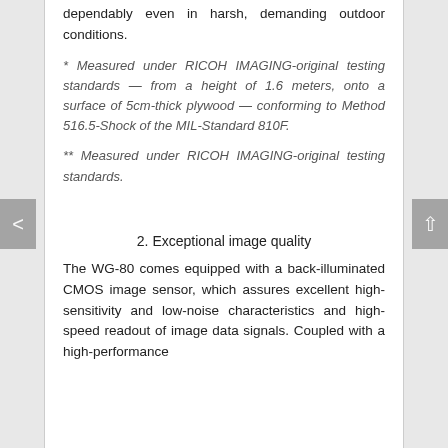dependably even in harsh, demanding outdoor conditions.
* Measured under RICOH IMAGING-original testing standards — from a height of 1.6 meters, onto a surface of 5cm-thick plywood — conforming to Method 516.5-Shock of the MIL-Standard 810F.
** Measured under RICOH IMAGING-original testing standards.
2. Exceptional image quality
The WG-80 comes equipped with a back-illuminated CMOS image sensor, which assures excellent high-sensitivity and low-noise characteristics and high-speed readout of image data signals. Coupled with a high-performance